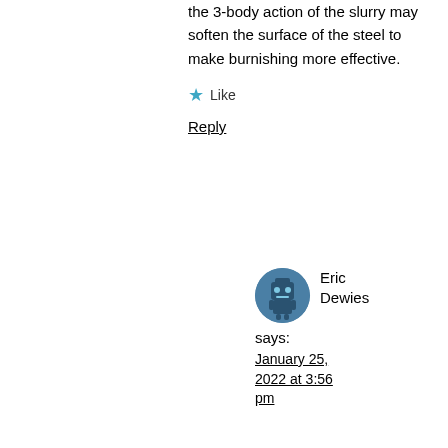the 3-body action of the slurry may soften the surface of the steel to make burnishing more effective.
★ Like
Reply
[Figure (illustration): Circular avatar icon of Eric Dewies, showing a robot/avatar style graphic in dark blue/gray tones]
Eric Dewies says: January 25, 2022 at 3:56 pm